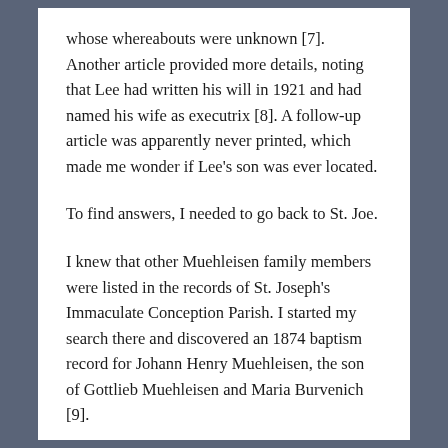whose whereabouts were unknown [7]. Another article provided more details, noting that Lee had written his will in 1921 and had named his wife as executrix [8]. A follow-up article was apparently never printed, which made me wonder if Lee's son was ever located.
To find answers, I needed to go back to St. Joe.
I knew that other Muehleisen family members were listed in the records of St. Joseph's Immaculate Conception Parish. I started my search there and discovered an 1874 baptism record for Johann Henry Muehleisen, the son of Gottlieb Muehleisen and Maria Burvenich [9].